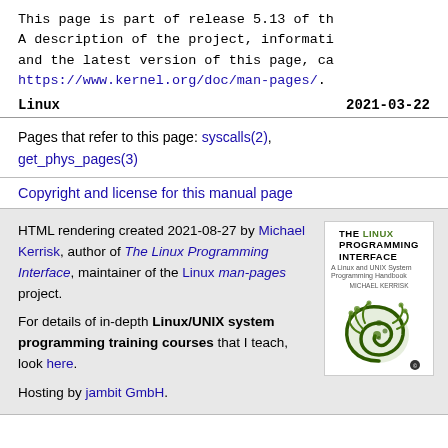This page is part of release 5.13 of th A description of the project, informati and the latest version of this page, ca https://www.kernel.org/doc/man-pages/.
Linux   2021-03-22
Pages that refer to this page: syscalls(2), get_phys_pages(3)
Copyright and license for this manual page
HTML rendering created 2021-08-27 by Michael Kerrisk, author of The Linux Programming Interface, maintainer of the Linux man-pages project.

For details of in-depth Linux/UNIX system programming training courses that I teach, look here.

Hosting by jambit GmbH.
[Figure (illustration): Book cover of 'The Linux Programming Interface' showing a green fern spiral on white background]